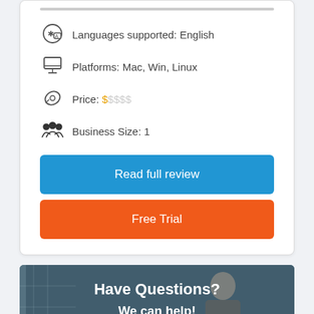Languages supported: English
Platforms: Mac, Win, Linux
Price: $$$$$
Business Size: 1
Read full review
Free Trial
[Figure (photo): Banner image with a person in an office setting, with overlay text 'Have Questions? We can help!']